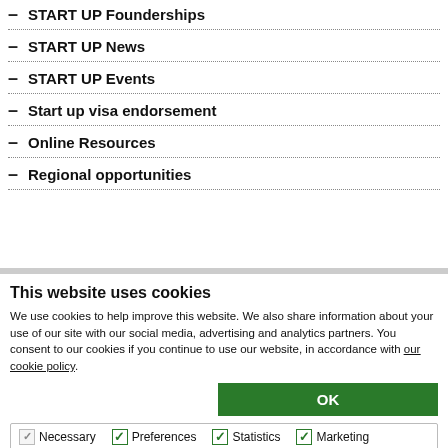– START UP Founderships
– START UP News
– START UP Events
– Start up visa endorsement
– Online Resources
– Regional opportunities
This website uses cookies
We use cookies to help improve this website. We also share information about your use of our site with our social media, advertising and analytics partners. You consent to our cookies if you continue to use our website, in accordance with our cookie policy.
OK
☑ Necessary ✓ Preferences ✓ Statistics ✓ Marketing